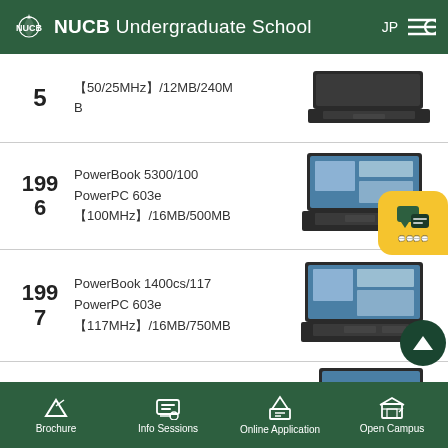NUCB Undergraduate School
| Year | Model | Image |
| --- | --- | --- |
| 5 | 〔50/25MHz〕/12MB/240MB | laptop image |
| 1996 | PowerBook 5300/100 PowerPC 603e 〔100MHz〕/16MB/500MB | laptop image |
| 1997 | PowerBook 1400cs/117 PowerPC 603e 〔117MHz〕/16MB/750MB | laptop image |
Brochure | Info Sessions | Online Application | Open Campus